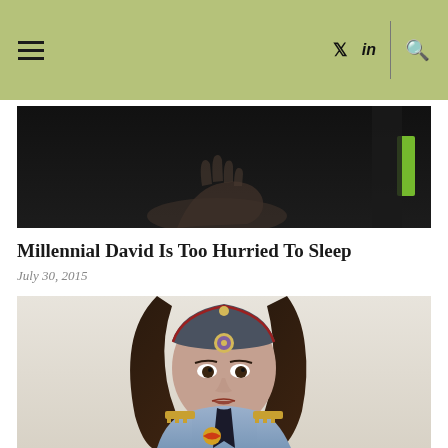≡  𝕏  in  🔍
[Figure (photo): Partial photo of a hand reaching out against a dark/black background with a green accent, shown from roughly the waist up.]
Millennial David Is Too Hurried To Sleep
July 30, 2015
[Figure (photo): Portrait photo of a young woman with long dark hair, wearing a blue military-style uniform with gold epaulettes, a dark tie, a gold eagle brooch, and a military cap (pilotka style) with a colored badge. She has a serious expression and is photographed against a light background.]